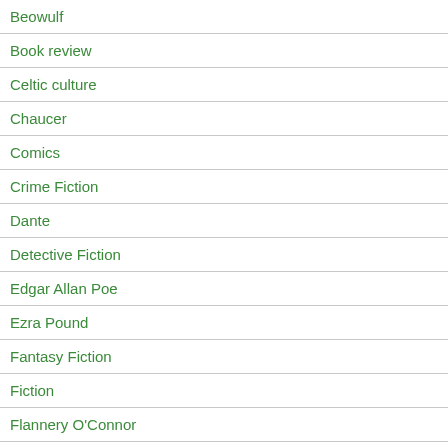Beowulf
Book review
Celtic culture
Chaucer
Comics
Crime Fiction
Dante
Detective Fiction
Edgar Allan Poe
Ezra Pound
Fantasy Fiction
Fiction
Flannery O'Connor